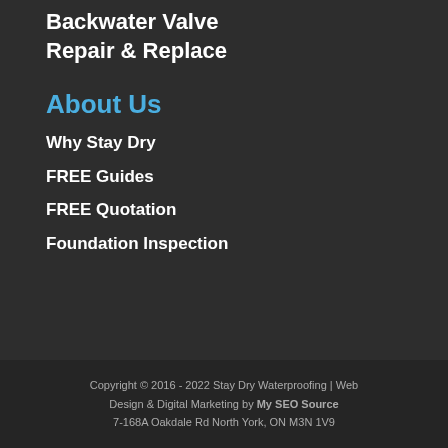Backwater Valve Repair & Replace
About Us
Why Stay Dry
FREE Guides
FREE Quotation
Foundation Inspection
Copyright © 2016 - 2022 Stay Dry Waterproofing | Web Design & Digital Marketing by My SEO Source
7-168A Oakdale Rd North York, ON M3N 1V9